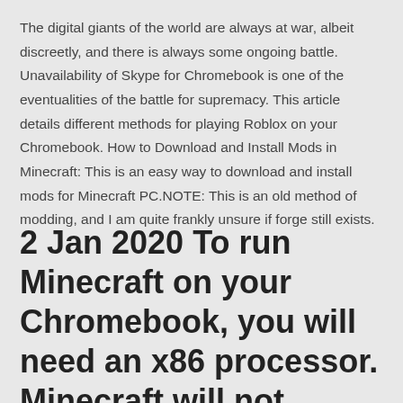The digital giants of the world are always at war, albeit discreetly, and there is always some ongoing battle. Unavailability of Skype for Chromebook is one of the eventualities of the battle for supremacy. This article details different methods for playing Roblox on your Chromebook. How to Download and Install Mods in Minecraft: This is an easy way to download and install mods for Minecraft PC.NOTE: This is an old method of modding, and I am quite frankly unsure if forge still exists.
2 Jan 2020 To run Minecraft on your Chromebook, you will need an x86 processor. Minecraft will not install Next, we'll download the Minecraft